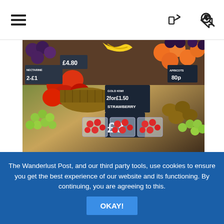[navigation bar with hamburger menu, share icon, and search icon]
[Figure (photo): A colourful fruit market stall piled high with strawberries, grapes, apples, oranges, kiwis, bananas and other fruit. Price signs visible including '£4.80', 'NECTARINE 2-£1', 'GOLD KIWI 2 for £1.50', 'STRAWBERRY £3'.]
Many of the stalls offer very tempting nibbles of their produce to entice you over so you can taste and try before you buy. You'll be
The Wanderlust Post, and our third party tools, use cookies to ensure you get the best experience of our website and its functioning. By continuing, you are agreeing to this.